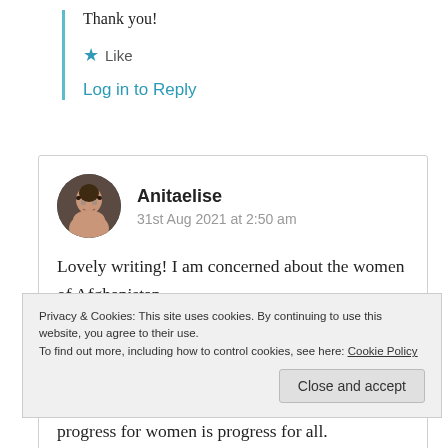Thank you!
Like
Log in to Reply
Anitaelise
31st Aug 2021 at 2:50 am
[Figure (photo): Circular avatar of a woman with glasses smiling]
Lovely writing! I am concerned about the women of Afghanistan.
Privacy & Cookies: This site uses cookies. By continuing to use this website, you agree to their use. To find out more, including how to control cookies, see here: Cookie Policy
Close and accept
progress for women is progress for all.